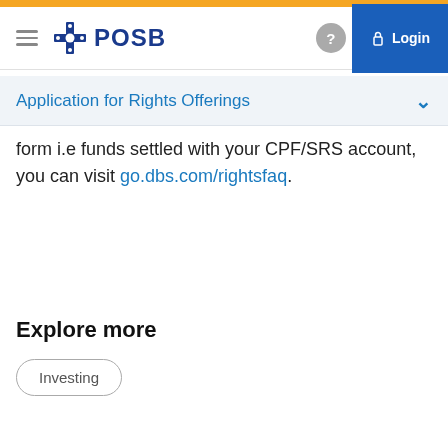POSB — Application for Rights Offerings
form i.e funds settled with your CPF/SRS account, you can visit go.dbs.com/rightsfaq.
Explore more
Investing